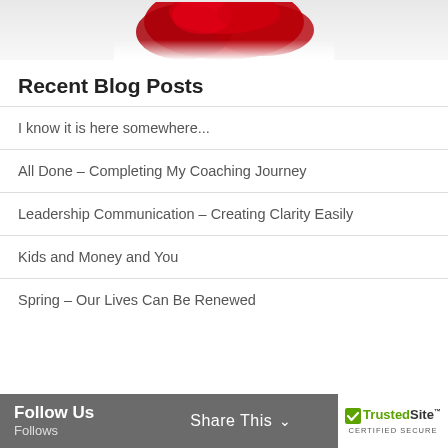[Figure (photo): Partial view of a red rose or flower against a light/white background, cropped at the top of the page.]
Recent Blog Posts
I know it is here somewhere...
All Done – Completing My Coaching Journey
Leadership Communication – Creating Clarity Easily
Kids and Money and You
Spring – Our Lives Can Be Renewed
Follow Us   Follows   Share This   TrustedSite CERTIFIED SECURE